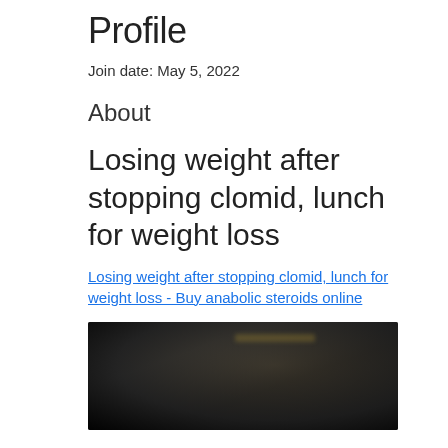Profile
Join date: May 5, 2022
About
Losing weight after stopping clomid, lunch for weight loss
Losing weight after stopping clomid, lunch for weight loss - Buy anabolic steroids online
[Figure (photo): Dark blurred photograph, content unclear]